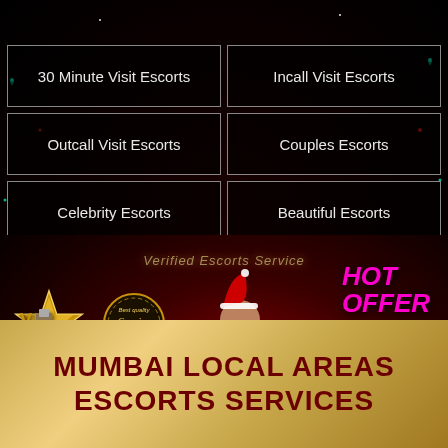30 Minute Visit Escorts
Incall Visit Escorts
Outcall Visit Escorts
Couples Escorts
Celebrity Escorts
Beautiful Escorts
[Figure (illustration): Verified Escorts Service promotional banner with VIP star logo, Genuine badge, two female figures, champagne bottle, HOT OFFER text in pink, and BOOK NOW red button]
MUMBAI LOCAL AREAS ESCORTS SERVICES